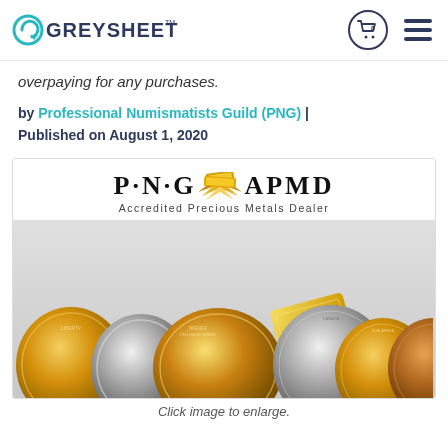GREYSHEET | cart 0 | menu
overpaying for any purchases.
by Professional Numismatists Guild (PNG) | Published on August 1, 2020
[Figure (photo): PNG APMD (Accredited Precious Metals Dealer) logo above a display of gold and silver coins and bars including American Gold Eagle, American Silver Eagle, Vienna Philharmonic, a gold bar, Canadian Silver Maple Leaf, Krugerrand, and a Swiss Helvetia gold coin.]
Click image to enlarge.